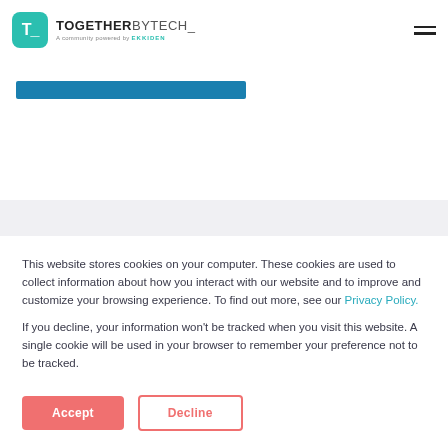T_ TOGETHERBYTECH_ A community powered by EKKIDEN
[Figure (other): Teal/blue horizontal progress bar or button element]
This website stores cookies on your computer. These cookies are used to collect information about how you interact with our website and to improve and customize your browsing experience. To find out more, see our Privacy Policy.

If you decline, your information won't be tracked when you visit this website. A single cookie will be used in your browser to remember your preference not to be tracked.
Accept
Decline